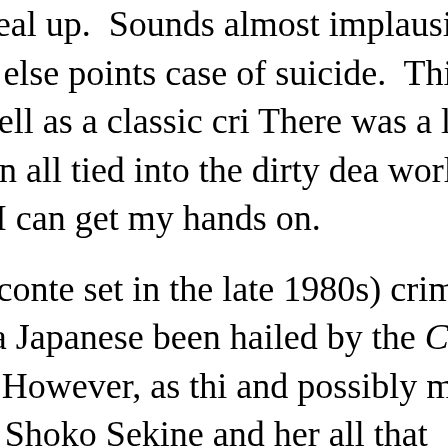departures and that strange single meal up. Sounds almost implausible, doesn't tiny details when everything else points case of suicide. This was such an intere Japanese society as well as a classic cri There was a lot of detail on how the det and the solution all tied into the dirty dea world. I will be reading the other books that I can get my hands on.
I am now reading another, this time conte set in the late 1980s) crime novel by Miy She Was Worth, which was a Japanese been hailed by the Christian Science Mo tour of the 'new' Japan. However, as thi and possibly murder (so far no body but women--the real Shoko Sekine and her all that corruption is not so new. She go about the credit industry, so once again consciousness. The detective, Honma, widowed father of a young son. He is o department due to a leg injury and agree disappearance of the girlfriend of his nep of no return with the story and can't wai